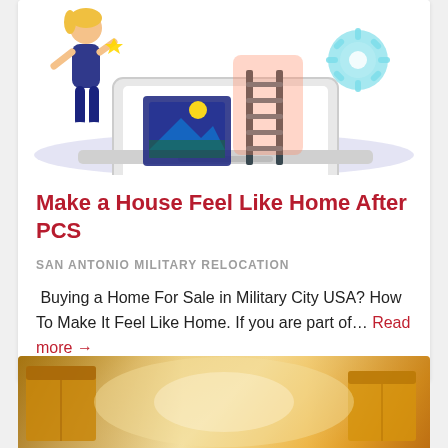[Figure (illustration): Colorful flat illustration showing a person standing next to a large laptop with a picture frame, ladder, and gear icon — representing home setup or digital tools for relocation.]
Make a House Feel Like Home After PCS
SAN ANTONIO MILITARY RELOCATION
Buying a Home For Sale in Military City USA? How To Make It Feel Like Home. If you are part of... Read more →
[Figure (photo): Partial photo of moving boxes in a bright room, visible at the bottom of the page.]